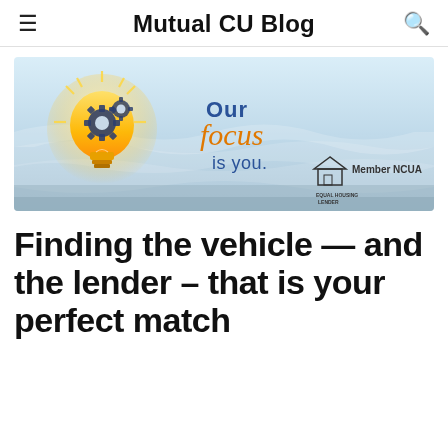Mutual CU Blog
[Figure (illustration): Mutual Credit Union banner with a glowing light bulb with gear icons, blue wavy background, text 'Our focus is you.' in blue and orange script, Equal Housing Lender logo and 'Member NCUA' text]
Finding the vehicle — and the lender – that is your perfect match